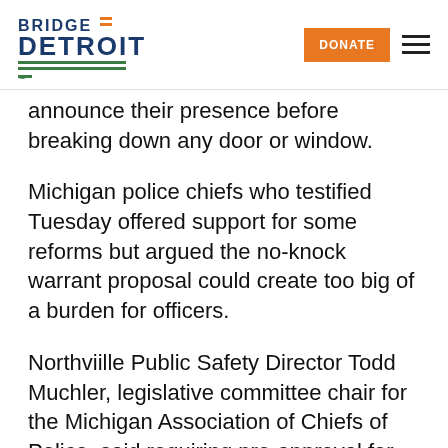BRIDGE DETROIT — DONATE
announce their presence before breaking down any door or window.
Michigan police chiefs who testified Tuesday offered support for some reforms but argued the no-knock warrant proposal could create too big of a burden for officers.
Northviille Public Safety Director Todd Muchler, legislative committee chair for the Michigan Association of Chiefs of Police, said requiring pre-approval for use of force while executing a warrant could jeopardize